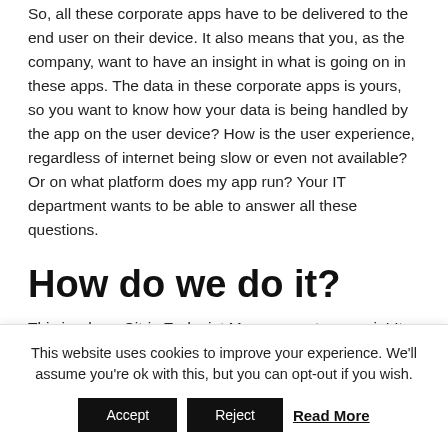So, all these corporate apps have to be delivered to the end user on their device. It also means that you, as the company, want to have an insight in what is going on in these apps. The data in these corporate apps is yours, so you want to know how your data is being handled by the app on the user device? How is the user experience, regardless of internet being slow or even not available? Or on what platform does my app run? Your IT department wants to be able to answer all these questions.
How do we do it?
This is where Citrix Endpoint Management comes in! It
This website uses cookies to improve your experience. We'll assume you're ok with this, but you can opt-out if you wish.